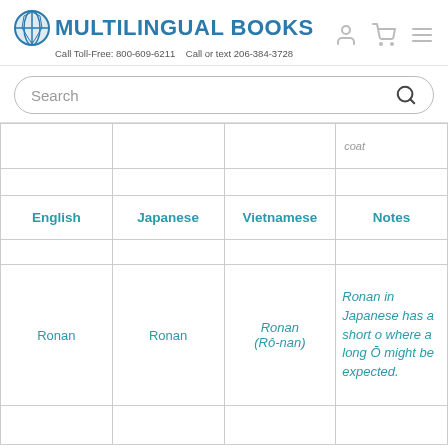MULTILINGUAL BOOKS — Call Toll-Free: 800-609-6211    Call or text 206-384-3728
| English | Japanese | Vietnamese | Notes |
| --- | --- | --- | --- |
| Ronan | Ronan | Ronan (Rô-nan) | Ronan in Japanese has a short o where a long Ō might be expected. |